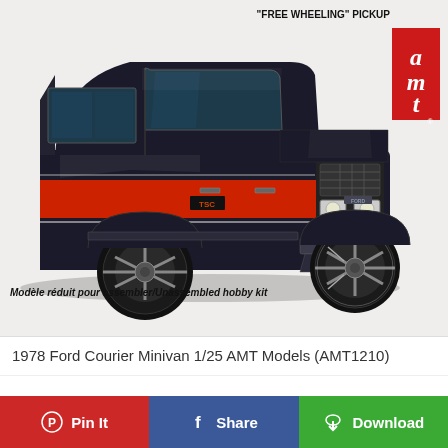[Figure (illustration): AMT model kit box art for 1978 Ford Courier Minivan 'Free Wheeling' Pickup. Shows a black and red pickup truck/SUV with chrome details, AMT logo in red box upper right, text 'Free Wheeling Pickup' at top, and 'Modèle réduit pour assembler/Unassembled hobby kit' at bottom left.]
1978 Ford Courier Minivan 1/25 AMT Models (AMT1210)
Pin It  Share  Download